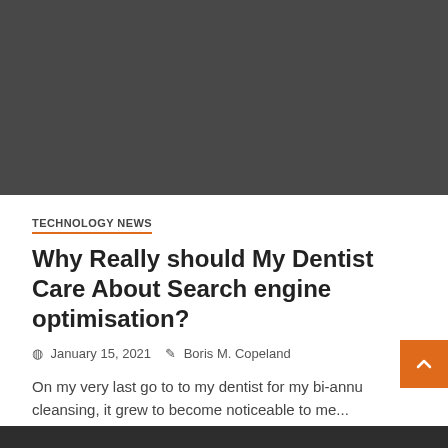[Figure (photo): Dark gray placeholder image block at top of article page]
TECHNOLOGY NEWS
Why Really should My Dentist Care About Search engine optimisation?
January 15, 2021   Boris M. Copeland
On my very last go to to my dentist for my bi-annu cleansing, it grew to become noticeable to me...